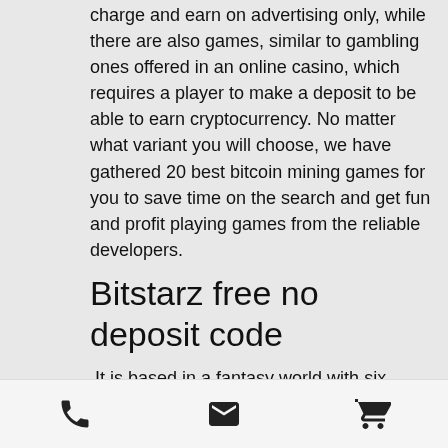charge and earn on advertising only, while there are also games, similar to gambling ones offered in an online casino, which requires a player to make a deposit to be able to earn cryptocurrency. No matter what variant you will choose, we have gathered 20 best bitcoin mining games for you to save time on the search and get fun and profit playing games from the reliable developers.
Bitstarz free no deposit code
It is based in a fantasy world with six kingdoms fighting to control all of Splinterland, bitstarz bonus senza deposito october 2021.
You need to register on the website to start earning on the platform. Genre: simulation Platform: Android, iOS Payment Methods:
[phone icon] [email icon] [cart icon]